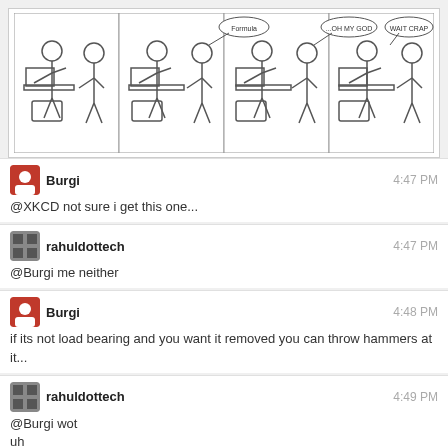[Figure (illustration): XKCD-style 4-panel comic strip showing stick figures at computers. Panels include speech bubbles with 'Formula', '...OH MY GOD', and 'WAIT CRAP'.]
Burgi 4:47 PM
@XKCD not sure i get this one...
rahuldottech 4:47 PM
@Burgi me neither
Burgi 4:48 PM
if its not load bearing and you want it removed you can throw hammers at it...
rahuldottech 4:49 PM
@Burgi wot
uh
nawt funniz
Burgi 4:50 PM
what?
Ave 4:50 PM
not funny, he said
Burgi 4:50 PM
have you never thrown hammers at a wall?